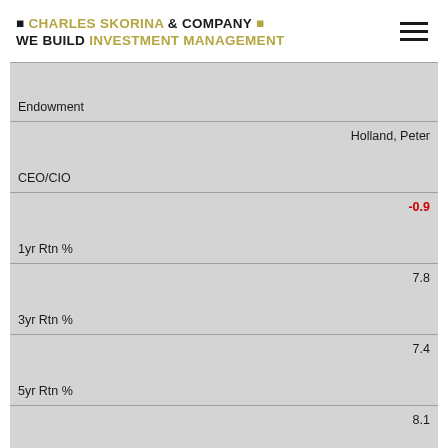■ CHARLES SKORINA & COMPANY ■ WE BUILD INVESTMENT MANAGEMENT
| Field | Value |
| --- | --- |
| Endowment |  |
| CEO/CIO | Holland, Peter |
| 1yr Rtn % | -0.9 |
| 3yr Rtn % | 7.8 |
| 5yr Rtn % | 7.4 |
| 10yr Rtn % | 8.1 |
| AUM FY16 $bn | 9.0B |